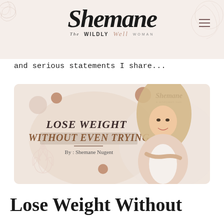[Figure (logo): Shemane - The Wildly Well Woman website header logo on beige/pink background with decorative floral elements and hamburger menu icon]
and serious statements I share...
[Figure (illustration): Book cover image for 'Lose Weight Without Even Trying' by Shemane Nugent, featuring a blonde woman smiling with arms crossed, decorative circles and lotus flower graphic on a pink/beige background with Shemane logo in top right]
Lose Weight Without